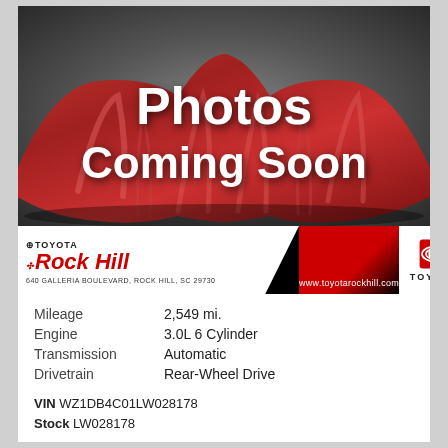[Figure (photo): Photos Coming Soon placeholder image with a red draped cloth over a car silhouette on a gray background]
[Figure (logo): Toyota of Rock Hill dealer banner with address 640 Galleria Boulevard, Rock Hill, SC 29730 and website www.toyotarockhill.com]
| Mileage | 2,549 mi. |
| Engine | 3.0L 6 Cylinder |
| Transmission | Automatic |
| Drivetrain | Rear-Wheel Drive |
VIN WZ1DB4C01LW028178
Stock LW028178
ACCELERIDE PRICE
$56,998*
NEED HELP?